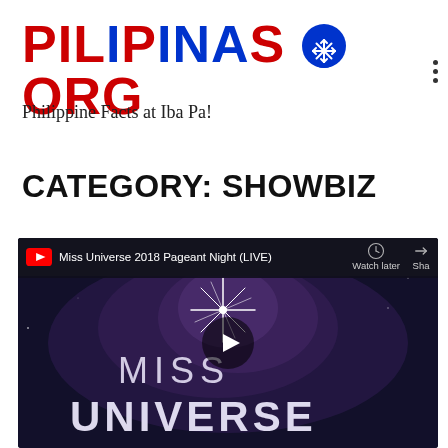[Figure (logo): PILIPINAS.ORG logo with red and blue text and a snowflake symbol inside a blue circle replacing the dot]
Philippine Facts at Iba Pa!
CATEGORY: SHOWBIZ
[Figure (screenshot): YouTube video embed showing Miss Universe 2018 Pageant Night (LIVE) with a dark space-themed thumbnail displaying MISS UNIVERSE text and a star burst graphic, with a play button in the center. Top bar shows Watch later and Share options.]